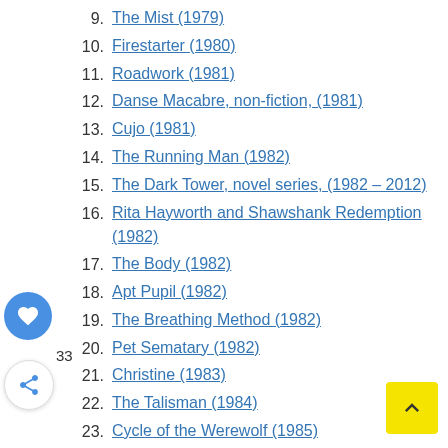9. The Mist (1979)
10. Firestarter (1980)
11. Roadwork (1981)
12. Danse Macabre, non-fiction, (1981)
13. Cujo (1981)
14. The Running Man (1982)
15. The Dark Tower, novel series, (1982 – 2012)
16. Rita Hayworth and Shawshank Redemption (1982)
17. The Body (1982)
18. Apt Pupil (1982)
19. The Breathing Method (1982)
20. Pet Sematary (1982)
21. Christine (1983)
22. The Talisman (1984)
23. Cycle of the Werewolf (1985)